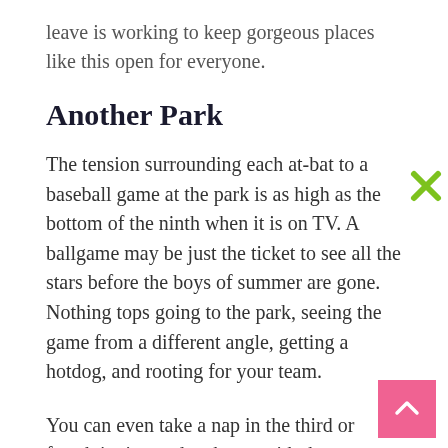leave is working to keep gorgeous places like this open for everyone.
Another Park
The tension surrounding each at-bat to a baseball game at the park is as high as the bottom of the ninth when it is on TV. A ballgame may be just the ticket to see all the stars before the boys of summer are gone. Nothing tops going to the park, seeing the game from a different angle, getting a hotdog, and rooting for your team.
You can even take a nap in the third or fourth inning and wake up with the same score. Baseball is a fan favorite sport because everyone has played it. However, seeing it up close will show you the outrageous talent that the game's best players have to offer.